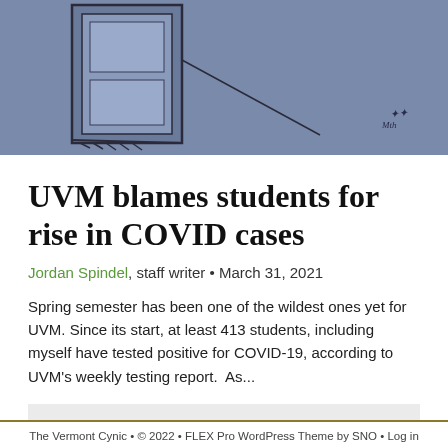[Figure (illustration): Illustration of a door or window frame on a blue-grey background with a hand-drawn sketch style. An artistic signature visible in lower right area.]
UVM blames students for rise in COVID cases
Jordan Spindel, staff writer • March 31, 2021
Spring semester has been one of the wildest ones yet for UVM. Since its start, at least 413 students, including myself have tested positive for COVID-19, according to UVM's weekly testing report.  As...
Loading More Stories...
The Vermont Cynic • © 2022 • FLEX Pro WordPress Theme by SNO • Log in